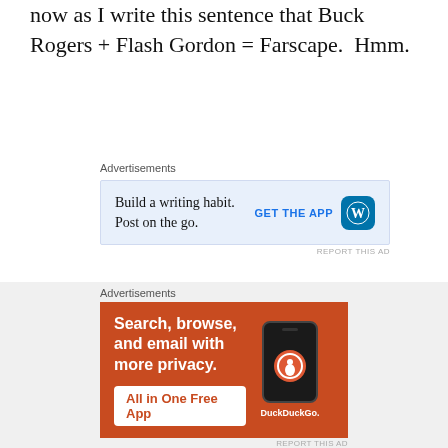now as I write this sentence that Buck Rogers + Flash Gordon = Farscape.  Hmm.
Advertisements
[Figure (screenshot): WordPress app advertisement: 'Build a writing habit. Post on the go.' with GET THE APP button and WordPress logo on light blue background]
[Figure (photo): Man in dark uniform/suit standing in front of a vehicle against a blue-purple background]
As with all my other examples
Advertisements
[Figure (screenshot): DuckDuckGo advertisement: 'Search, browse, and email with more privacy. All in One Free App' with phone image and DuckDuckGo logo on orange background]